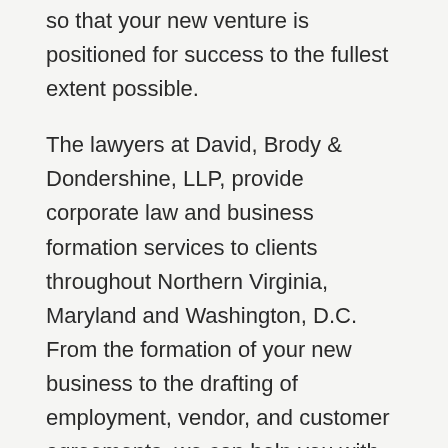so that your new venture is positioned for success to the fullest extent possible.
The lawyers at David, Brody & Dondershine, LLP, provide corporate law and business formation services to clients throughout Northern Virginia, Maryland and Washington, D.C. From the formation of your new business to the drafting of employment, vendor, and customer agreements, we can help you with everything you need to get your business off to a solid start.
COMMITTED TO THE SUCCESS OF